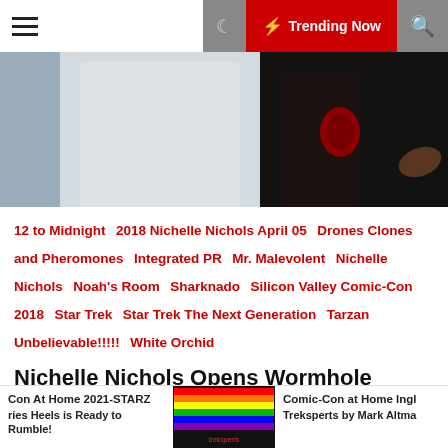Trending Now
[Figure (photo): Close-up photo of two people, one in a white shirt and one in a dark fur coat with red decoration]
12 to Midnight   2018 Nichelle Nichols April 05   Drones Clones and Pheromones   Integrated PR   Mr. Malevolent   Nichelle Nichols   Noah's Room   Sharknado   Silicon Valley Comic-Con 2018   Star Trek   Star Trek The Next Generation   Tarzan   Unbelievable!!!!!   White Orchid
Nichelle Nichols Opens Wormhole Hailing Frequency Before Epic Silicon Valley Comic Con 2018!
Kenn  4 years ago
[Figure (photo): Rainbow colored stripes logo for Treksperts]
Con At Home 2021-STARZ ries Heels is Ready to Rumble!
Comic-Con at Home Ingle Treksperts by Mark Altma